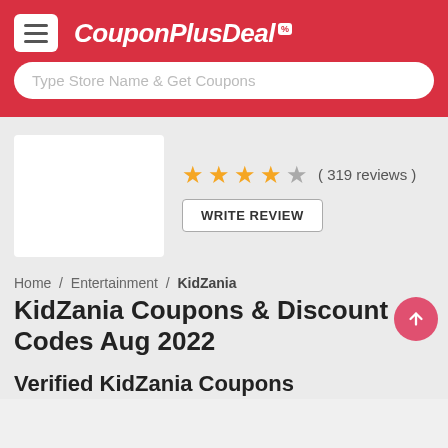CouponPlusDeal
Type Store Name & Get Coupons
[Figure (logo): KidZania store logo placeholder white box]
★★★★☆ ( 319 reviews ) WRITE REVIEW
Home / Entertainment / KidZania
KidZania Coupons & Discount Codes Aug 2022
Verified KidZania Coupons